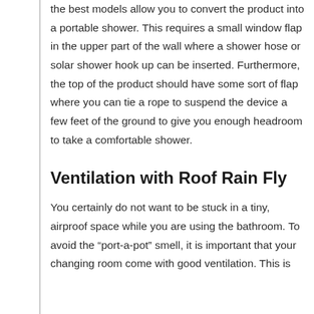the best models allow you to convert the product into a portable shower. This requires a small window flap in the upper part of the wall where a shower hose or solar shower hook up can be inserted. Furthermore, the top of the product should have some sort of flap where you can tie a rope to suspend the device a few feet of the ground to give you enough headroom to take a comfortable shower.
Ventilation with Roof Rain Fly
You certainly do not want to be stuck in a tiny, airproof space while you are using the bathroom. To avoid the “port-a-pot” smell, it is important that your changing room come with good ventilation. This is